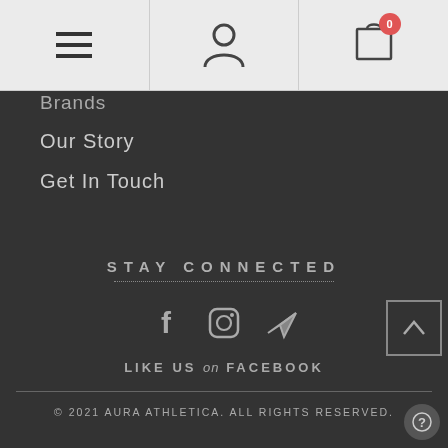[hamburger menu] [user icon] [cart icon: 0]
Brands
Our Story
Get In Touch
STAY CONNECTED
[Figure (illustration): Social media icons: Facebook (f), Instagram, Telegram/send icon]
LIKE US on FACEBOOK
© 2021 AURA ATHLETICA. ALL RIGHTS RESERVED.